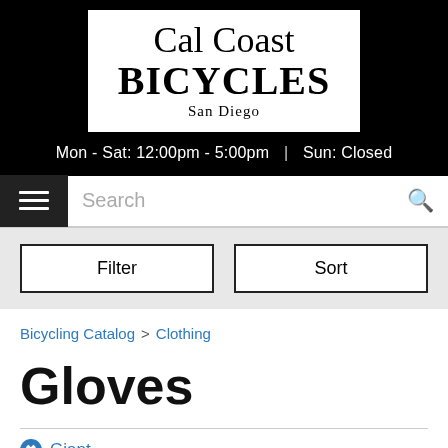[Figure (logo): Cal Coast Bicycles San Diego logo — white box with serif text on black background]
Mon - Sat: 12:00pm - 5:00pm  |  Sun: Closed
Search
Filter
Sort
Bicycling Catalog > Clothing
Gloves
Giant